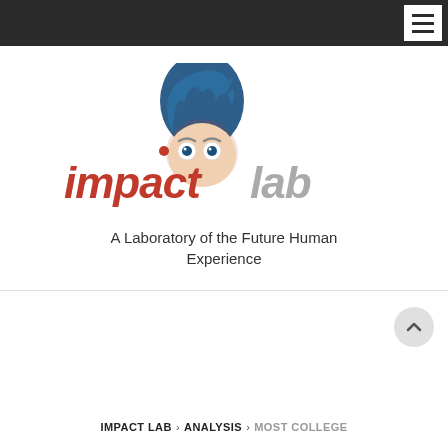Impact Lab navigation bar with hamburger menu
[Figure (logo): Impact Lab logo: stylized cartoon face with blue hair, red and gray text reading 'impact lab', tagline 'A Laboratory of the Future Human Experience']
MOST COLLEGE STUDENTS IN THE U.S. PREFER DIGITAL OVER PRINT WHEN READING
IMPACT LAB > ANALYSIS > MOST COLLEGE